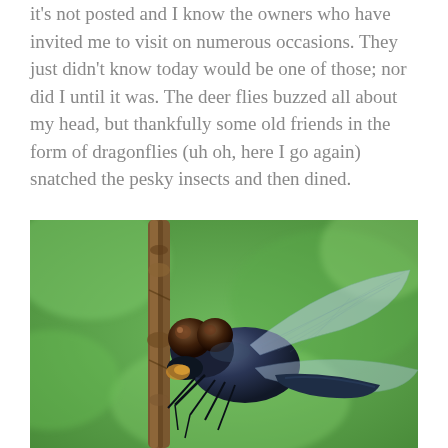it's not posted and I know the owners who have invited me to visit on numerous occasions. They just didn't know today would be one of those; nor did I until it was. The deer flies buzzed all about my head, but thankfully some old friends in the form of dragonflies (uh oh, here I go again) snatched the pesky insects and then dined.
[Figure (photo): Close-up macro photograph of a dark blue/black dragonfly perched on a thin brown twig, eating an insect. The dragonfly's large compound eyes and wing venation are visible. The background is blurred green foliage.]